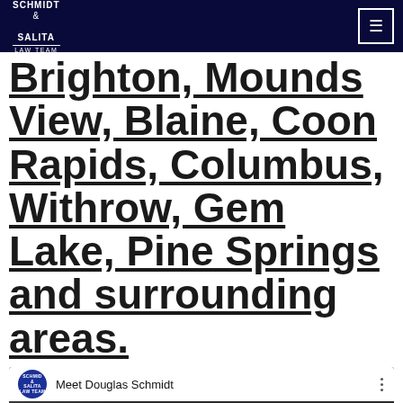SCHMIDT & SALITA LAW TEAM
Brighton, Mounds View, Blaine, Coon Rapids, Columbus, Withrow, Gem Lake, Pine Springs and surrounding areas.
[Figure (screenshot): YouTube video embed titled 'Meet Douglas Schmidt' with Schmidt & Salita Law Team logo, showing a partial thumbnail of a man's face with 'MEET DOUGLAS' text overlay and a play button in the center.]